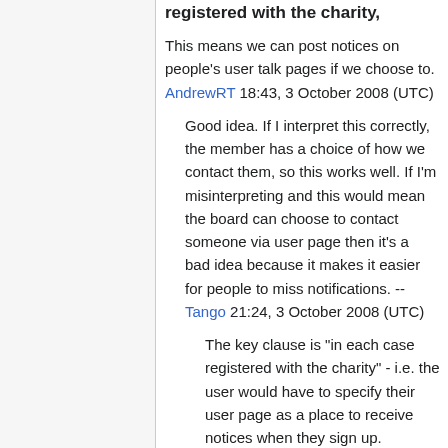registered with the charity,
This means we can post notices on people's user talk pages if we choose to. AndrewRT 18:43, 3 October 2008 (UTC)
Good idea. If I interpret this correctly, the member has a choice of how we contact them, so this works well. If I'm misinterpreting and this would mean the board can choose to contact someone via user page then it's a bad idea because it makes it easier for people to miss notifications. --Tango 21:24, 3 October 2008 (UTC)
The key clause is "in each case registered with the charity" - i.e. the user would have to specify their user page as a place to receive notices when they sign up. AndrewRT 14:37, 5 October